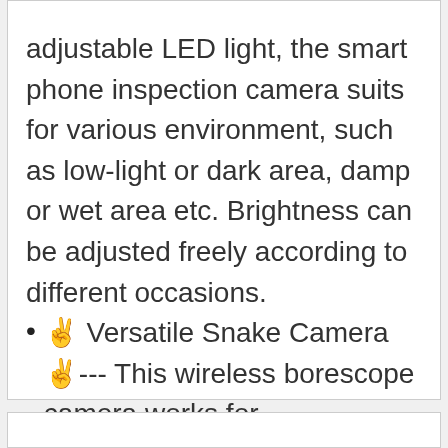adjustable LED light, the smart phone inspection camera suits for various environment, such as low-light or dark area, damp or wet area etc. Brightness can be adjusted freely according to different occasions.
✌ Versatile Snake Camera ✌--- This wireless borescope camera works for automotive/diesel repair and maintenance, industrial testing, pipeline testing, outdoor testing and other industry fields. It minimizes the need for machine disassembly to save time and money.